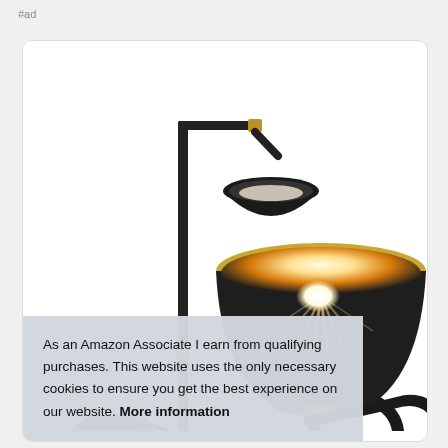#ad
[Figure (photo): Product photo of a black floor lamp with two heads: a reading lamp arm on the left with a small black cone shade with gold accent, and a large upward-facing torchiere bowl shade in the center glowing with warm light. Gold hardware details visible. Black curved base at bottom.]
As an Amazon Associate I earn from qualifying purchases. This website uses the only necessary cookies to ensure you get the best experience on our website. More information